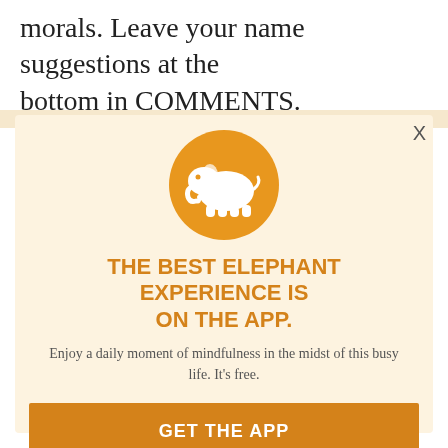morals. Leave your name suggestions at the bottom in COMMENTS.
Chef Bradford Hardy, owner of Colterra in Niwot, is venturing to Boulder to try his luck in the heart of the city. He's planning to open a more sophisticated dining at the former Tahona location at 14th and Pearl along the hemp plant through the use of organic and local ingredients at Colterra, which even features its own gardens. His new concept will be similar in some ways to the former Tahona but different.
[Figure (logo): White elephant silhouette on an orange/amber circular background - Elephant Journal app logo]
THE BEST ELEPHANT EXPERIENCE IS ON THE APP.
Enjoy a daily moment of mindfulness in the midst of this busy life. It's free.
GET THE APP
OPEN IN APP